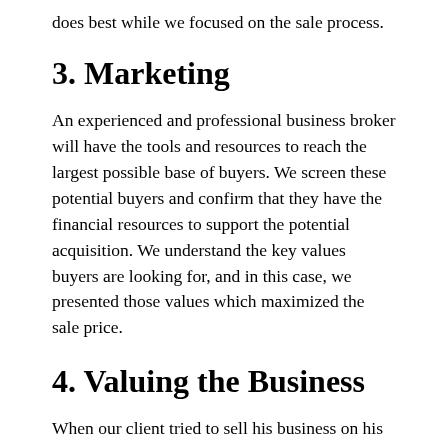does best while we focused on the sale process.
3. Marketing
An experienced and professional business broker will have the tools and resources to reach the largest possible base of buyers. We screen these potential buyers and confirm that they have the financial resources to support the potential acquisition. We understand the key values buyers are looking for, and in this case, we presented those values which maximized the sale price.
4. Valuing the Business
When our client tried to sell his business on his own, he based the value of the enterprise on two things: